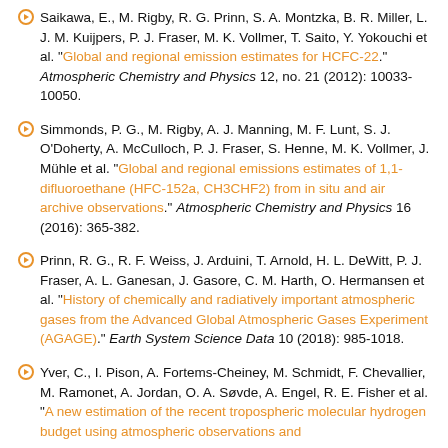Saikawa, E., M. Rigby, R. G. Prinn, S. A. Montzka, B. R. Miller, L. J. M. Kuijpers, P. J. Fraser, M. K. Vollmer, T. Saito, Y. Yokouchi et al. "Global and regional emission estimates for HCFC-22." Atmospheric Chemistry and Physics 12, no. 21 (2012): 10033-10050.
Simmonds, P. G., M. Rigby, A. J. Manning, M. F. Lunt, S. J. O'Doherty, A. McCulloch, P. J. Fraser, S. Henne, M. K. Vollmer, J. Mühle et al. "Global and regional emissions estimates of 1,1-difluoroethane (HFC-152a, CH3CHF2) from in situ and air archive observations." Atmospheric Chemistry and Physics 16 (2016): 365-382.
Prinn, R. G., R. F. Weiss, J. Arduini, T. Arnold, H. L. DeWitt, P. J. Fraser, A. L. Ganesan, J. Gasore, C. M. Harth, O. Hermansen et al. "History of chemically and radiatively important atmospheric gases from the Advanced Global Atmospheric Gases Experiment (AGAGE)." Earth System Science Data 10 (2018): 985-1018.
Yver, C., I. Pison, A. Fortems-Cheiney, M. Schmidt, F. Chevallier, M. Ramonet, A. Jordan, O. A. Søvde, A. Engel, R. E. Fisher et al. "A new estimation of the recent tropospheric molecular hydrogen budget using atmospheric observations and